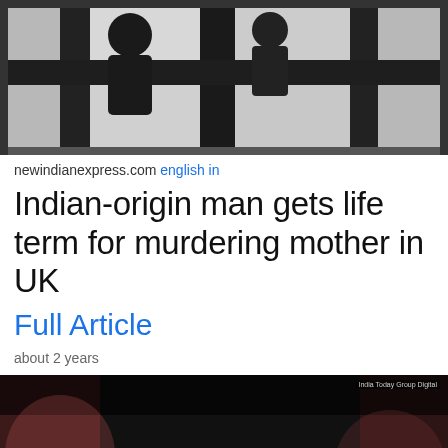[Figure (photo): Black and white silhouette photo showing two figures against window bars or grid, high contrast dark tones]
newindianexpress.com english in
Indian-origin man gets life term for murdering mother in UK
Full Article
about 2 years
[Figure (photo): Dark dramatic image showing hands gripped together, rendered in high-contrast dark tones with pink/red highlights, with watermark 'India Today Group Digital']